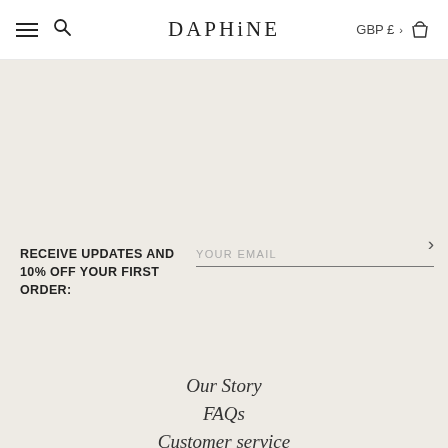DAPHiNE   GBP £
RECEIVE UPDATES AND 10% OFF YOUR FIRST ORDER:
YOUR EMAIL
Our Story
FAQs
Customer service